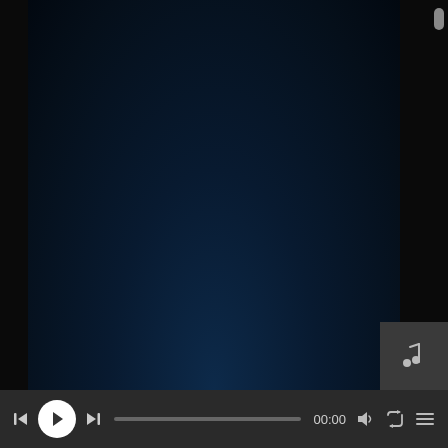[Figure (screenshot): A media player interface showing a dark navy/dark blue video screen with a black letterbox on the left side, a scrollbar on the right, a music note icon in the bottom-right corner of the video area, and a control bar at the bottom with skip-back, play, skip-forward buttons, a progress bar, time display (00:00), volume, repeat, and menu icons.]